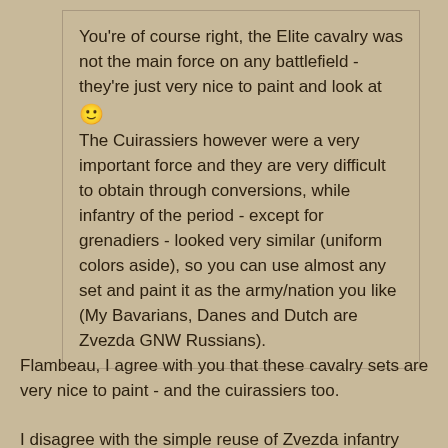You're of course right, the Elite cavalry was not the main force on any battlefield - they're just very nice to paint and look at 🙂 The Cuirassiers however were a very important force and they are very difficult to obtain through conversions, while infantry of the period - except for grenadiers - looked very similar (uniform colors aside), so you can use almost any set and paint it as the army/nation you like (My Bavarians, Danes and Dutch are Zvezda GNW Russians).
Flambeau, I agree with you that these cavalry sets are very nice to paint - and the cuirassiers too.
I disagree with the simple reuse of Zvezda infantry sets for the dutch or austrians. Theirs